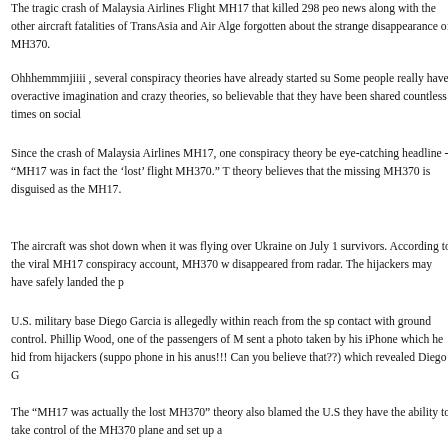The tragic crash of Malaysia Airlines Flight MH17 that killed 298 peo... news along with the other aircraft fatalities of TransAsia and Air Alge... forgotten about the strange disappearance of MH370.
Ohhhemmmjiiii , several conspiracy theories have already started su... Some people really have overactive imagination and crazy theories,... so believable that they have been shared countless times on social ...
Since the crash of Malaysia Airlines MH17, one conspiracy theory be... eye-catching headline - "MH17 was in fact the 'lost' flight MH370." T... theory believes that the missing MH370 is disguised as the MH17.
The aircraft was shot down when it was flying over Ukraine on July 1... survivors. According to the viral MH17 conspiracy account, MH370 w... disappeared from radar. The hijackers may have safely landed the p...
U.S. military base Diego Garcia is allegedly within reach from the sp... contact with ground control. Phillip Wood, one of the passengers of M... sent a photo taken by his iPhone which he hid from hijackers (suppo... phone in his anus!!! Can you believe that??) which revealed Diego G...
The "MH17 was actually the lost MH370" theory also blamed the U.S... they have the ability to take control of the MH370 plane and set up a...